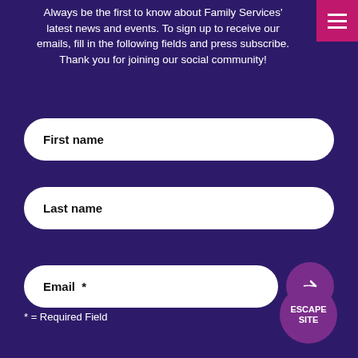Always be the first to know about Family Services' latest news and events. To sign up to receive our emails, fill in the following fields and press subscribe. Thank you for joining our social community!
[Figure (other): Menu hamburger button (pink/magenta square with three white horizontal lines) in top-right corner]
First name
Last name
Email  *
[Figure (other): Purple circular button with right arrow (→) for form submission]
* = Required Field
[Figure (other): Purple circular ESCAPE SITE button in bottom-right corner]